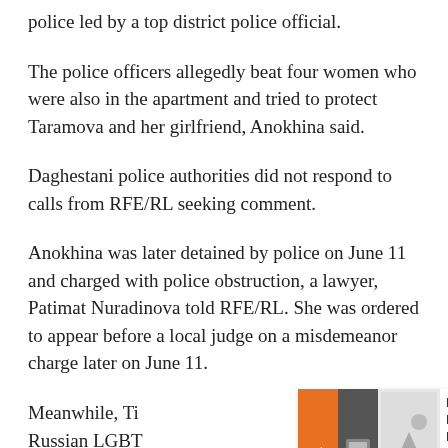police led by a top district police official.
The police officers allegedly beat four women who were also in the apartment and tried to protect Taramova and her girlfriend, Anokhina said.
Daghestani police authorities did not respond to calls from RFE/RL seeking comment.
Anokhina was later detained by police on June 11 and charged with police obstruction, a lawyer, Patimat Nuradinova told RFE/RL. She was ordered to appear before a local judge on a misdemeanor charge later on June 11.
[Figure (screenshot): UI overlay with orange arrow button, dark icon, image placeholder, and text 'Déjà Food: Russia's Replica Restaurant Brands']
Meanwhile, Ti... Russian LGBT... largest lesbian...